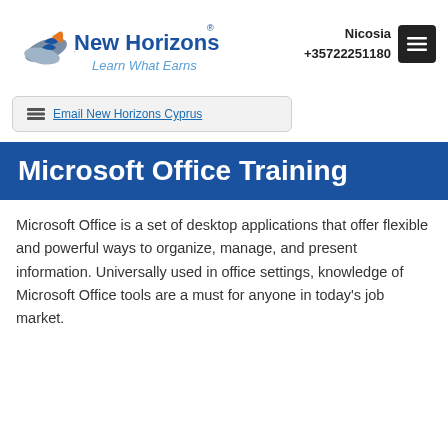[Figure (logo): New Horizons logo with tagline 'Learn What Earns']
Nicosia
+35722251180
Email New Horizons Cyprus
Microsoft Office Training
Microsoft Office is a set of desktop applications that offer flexible and powerful ways to organize, manage, and present information. Universally used in office settings, knowledge of Microsoft Office tools are a must for anyone in today's job market.